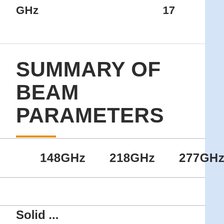GHz    17
SUMMARY OF BEAM PARAMETERS
| 148GHz | 218GHz | 277GHz |
| --- | --- | --- |
Solid ...